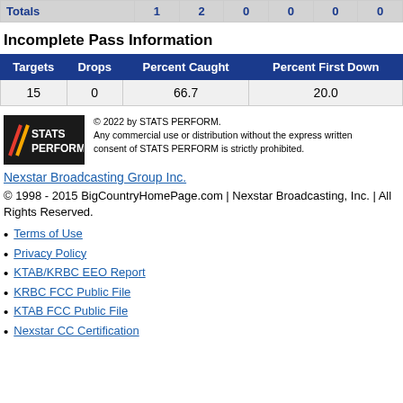| Totals | 1 | 2 | 0 | 0 | 0 | 0 |
| --- | --- | --- | --- | --- | --- | --- |
Incomplete Pass Information
| Targets | Drops | Percent Caught | Percent First Down |
| --- | --- | --- | --- |
| 15 | 0 | 66.7 | 20.0 |
[Figure (logo): STATS PERFORM logo with copyright notice: © 2022 by STATS PERFORM. Any commercial use or distribution without the express written consent of STATS PERFORM is strictly prohibited.]
Nexstar Broadcasting Group Inc.
© 1998 - 2015 BigCountryHomePage.com | Nexstar Broadcasting, Inc. | All Rights Reserved.
Terms of Use
Privacy Policy
KTAB/KRBC EEO Report
KRBC FCC Public File
KTAB FCC Public File
Nexstar CC Certification